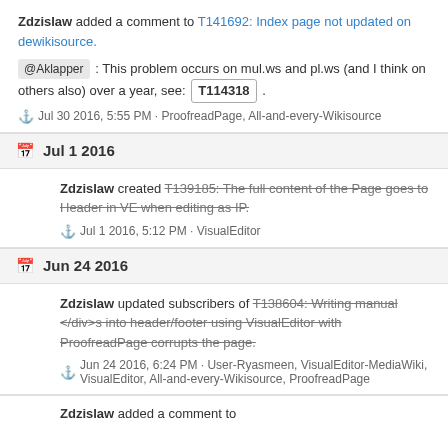Zdzislaw added a comment to T141692: Index page not updated on dewikisource.
@Aklapper : This problem occurs on mul.ws and pl.ws (and I think on others also) over a year, see: T114318 .
Jul 30 2016, 5:55 PM · ProofreadPage, All-and-every-Wikisource
Jul 1 2016
Zdzislaw created T139185: The full content of the Page goes to Header in VE when editing as IP.
Jul 1 2016, 5:12 PM · VisualEditor
Jun 24 2016
Zdzislaw updated subscribers of T138604: Writing manual </div>s into header/footer using VisualEditor with ProofreadPage corrupts the page.
Jun 24 2016, 6:24 PM · User-Ryasmeen, VisualEditor-MediaWiki, VisualEditor, All-and-every-Wikisource, ProofreadPage